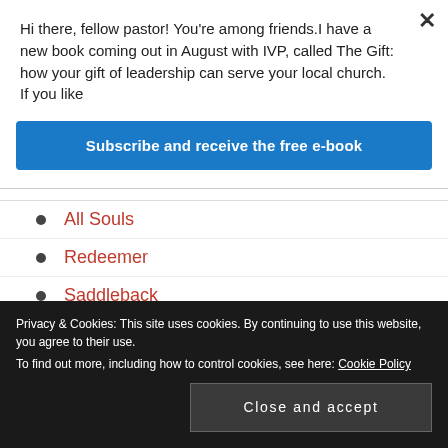Hi there, fellow pastor! You're among friends.I have a new book coming out in August with IVP, called The Gift: how your gift of leadership can serve your local church. If you like
Subscribe and receive the free e-book
All Souls
Redeemer
Saddleback
St Andrew the Great
St Ebbe's
St Helen's, Bishopsgate
Privacy & Cookies: This site uses cookies. By continuing to use this website, you agree to their use.
To find out more, including how to control cookies, see here: Cookie Policy
Close and accept